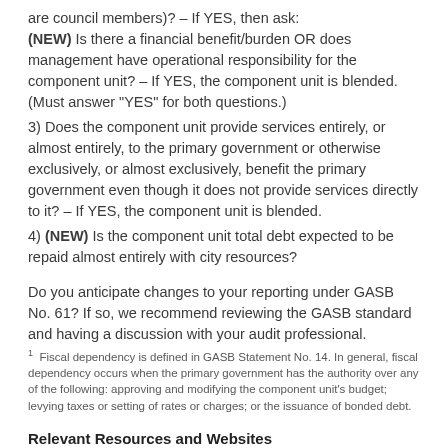are council members)? – If YES, then ask: (NEW) Is there a financial benefit/burden OR does management have operational responsibility for the component unit? – If YES, the component unit is blended. (Must answer "YES" for both questions.)
3) Does the component unit provide services entirely, or almost entirely, to the primary government or otherwise exclusively, or almost exclusively, benefit the primary government even though it does not provide services directly to it? – If YES, the component unit is blended.
4) (NEW) Is the component unit total debt expected to be repaid almost entirely with city resources?
Do you anticipate changes to your reporting under GASB No. 61? If so, we recommend reviewing the GASB standard and having a discussion with your audit professional.
1 Fiscal dependency is defined in GASB Statement No. 14. In general, fiscal dependency occurs when the primary government has the authority over any of the following: approving and modifying the component unit's budget; levying taxes or setting of rates or charges; or the issuance of bonded debt.
Relevant Resources and Websites